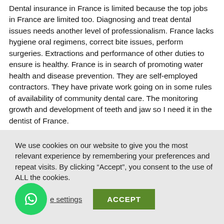Dental insurance in France is limited because the top jobs in France are limited too. Diagnosing and treat dental issues needs another level of professionalism. France lacks hygiene oral regimens, correct bite issues, perform surgeries. Extractions and performance of other duties to ensure is healthy. France is in search of promoting water health and disease prevention. They are self-employed contractors. They have private work going on in some rules of availability of community dental care. The monitoring growth and development of teeth and jaw so I need it in the dentist of France.
We use cookies on our website to give you the most relevant experience by remembering your preferences and repeat visits. By clicking “Accept”, you consent to the use of ALL the cookies.
e settings
ACCEPT